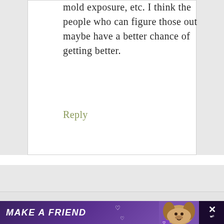mold exposure, etc. I think the people who can figure those out maybe have a better chance of getting better.
Reply
[Figure (other): Advertisement banner: purple background with 'MAKE A FRIEND' text, dog image, close button with X symbol and W logo]